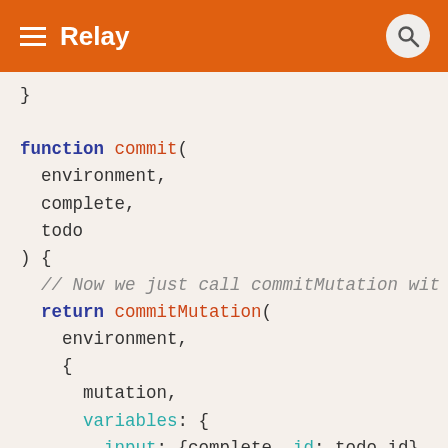Relay
}

function commit(
  environment,
  complete,
  todo
) {
  // Now we just call commitMutation wit
  return commitMutation(
    environment,
    {
      mutation,
      variables: {
        input: {complete, id: todo.id},
      },
      optimisticResponse: getOptimisticR
    }